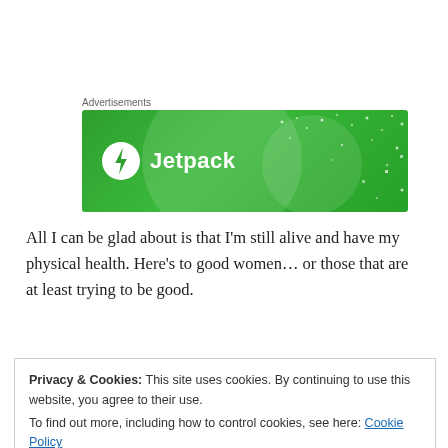Advertisements
[Figure (illustration): Jetpack advertisement banner with green background, large translucent circles and white dots pattern. Shows Jetpack logo (white lightning bolt in circle) and text 'Jetpack' in white.]
All I can be glad about is that I’m still alive and have my physical health. Here’s to good women… or those that are at least trying to be good.
Do I harbor any hatred? If there’s any it’s only towards certain
Privacy & Cookies: This site uses cookies. By continuing to use this website, you agree to their use.
To find out more, including how to control cookies, see here: Cookie Policy
Close and accept
stick it out with you through those levels of bullshit is a keeper.